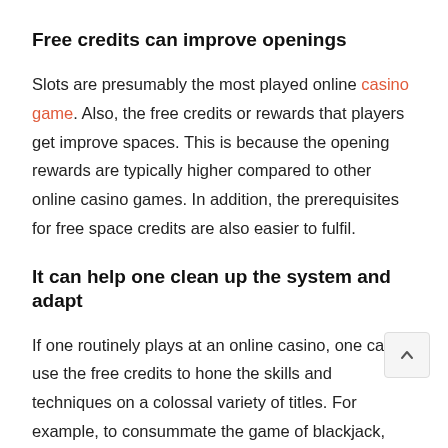Free credits can improve openings
Slots are presumably the most played online casino game. Also, the free credits or rewards that players get improve spaces. This is because the opening rewards are typically higher compared to other online casino games. In addition, the prerequisites for free space credits are also easier to fulfil.
It can help one clean up the system and adapt
If one routinely plays at an online casino, one can use the free credits to hone the skills and techniques on a colossal variety of titles. For example, to consummate the game of blackjack, using the free credits can be an extraordinary procedure. These are some of the advantages one can get when using free online casino